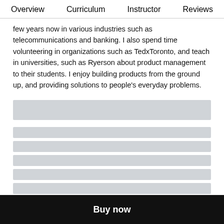Overview   Curriculum   Instructor   Reviews
few years now in various industries such as telecommunications and banking.  I also spend time volunteering in organizations such as TedxToronto, and teach in universities, such as Ryerson about product management to their students.  I enjoy building products from the ground up, and providing solutions to people's everyday problems.
[Figure (other): Loading skeleton UI placeholders — one tall gray bar followed by seven thinner gray bars representing loading content]
Buy now